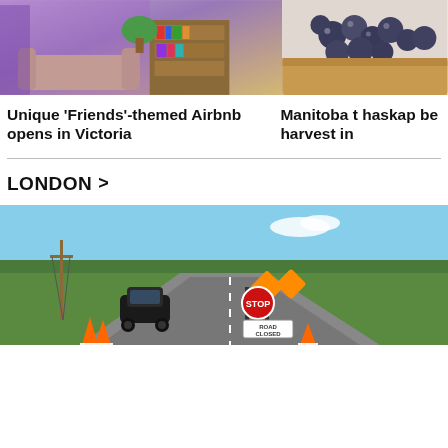[Figure (photo): Interior of a Friends-themed Airbnb with purple walls, bookshelves, plants, and a beige couch]
[Figure (photo): Close-up of dark blue/purple round berries (haskap berries) in a container]
Unique 'Friends'-themed Airbnb opens in Victoria
Manitoba t haskap be harvest in
LONDON >
[Figure (photo): A rural road with a black car and orange traffic cones next to a Road Closed sign, surrounded by green fields and blue sky]